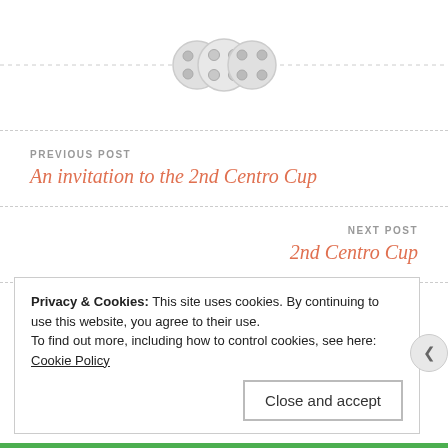[Figure (illustration): Three decorative button/circle icons arranged horizontally on a dashed horizontal rule, serving as a visual divider between sections.]
PREVIOUS POST
An invitation to the 2nd Centro Cup
NEXT POST
2nd Centro Cup
Privacy & Cookies: This site uses cookies. By continuing to use this website, you agree to their use.
To find out more, including how to control cookies, see here: Cookie Policy
Close and accept